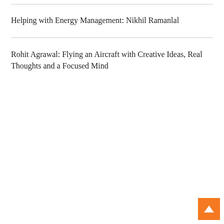Helping with Energy Management: Nikhil Ramanlal
Rohit Agrawal: Flying an Aircraft with Creative Ideas, Real Thoughts and a Focused Mind